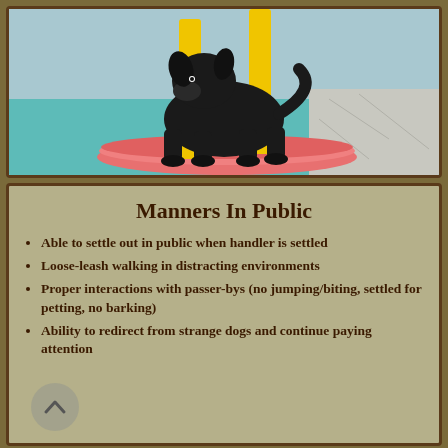[Figure (photo): A black dog (Labrador) standing on a pink circular disc/platform with yellow poles, photographed outdoors at what appears to be a training or agility area with teal/blue flooring.]
Manners In Public
Able to settle out in public when handler is settled
Loose-leash walking in distracting environments
Proper interactions with passer-bys (no jumping/biting, settled for petting, no barking)
Ability to redirect from strange dogs and continue paying attention